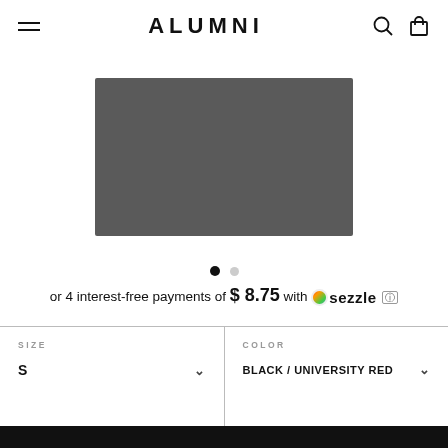ALUMNI
[Figure (photo): Dark grey folded fabric/clothing item on white background]
or 4 interest-free payments of $8.75 with Sezzle
SIZE: S | COLOR: BLACK / UNIVERSITY RED
ADD TO CART →